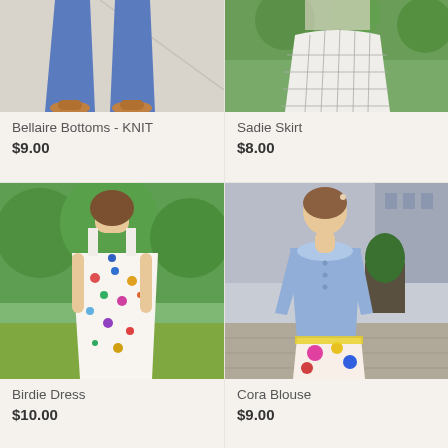[Figure (photo): Cropped photo showing lower half of person wearing blue flared pants and brown/tan shoes on light pavement]
Bellaire Bottoms - KNIT
$9.00
[Figure (photo): Cropped photo showing a girl in a white grid-pattern skirt standing outdoors with green foliage background]
Sadie Skirt
$8.00
[Figure (photo): Photo of a young girl wearing a sleeveless white dress with colorful print pattern, standing outdoors with green trees in background]
Birdie Dress
$10.00
[Figure (photo): Photo of a young girl wearing a light blue blouse with peter pan collar and a colorful floral/abstract print skirt, standing on an outdoor terrace]
Cora Blouse
$9.00